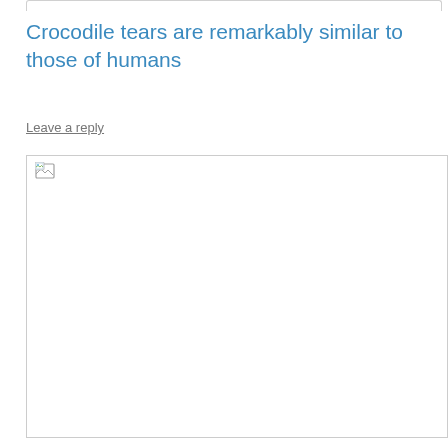Crocodile tears are remarkably similar to those of humans
Leave a reply
[Figure (photo): A broken/unloaded image placeholder with a small icon in the top-left corner, representing an embedded image that could not load.]